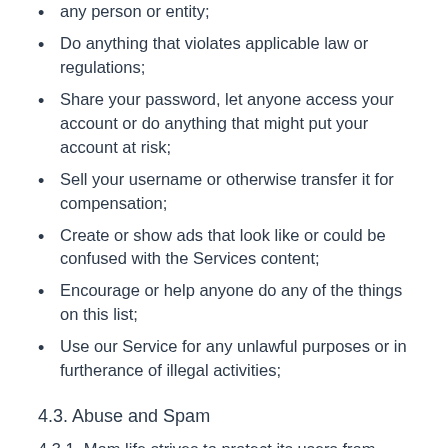any person or entity;
Do anything that violates applicable law or regulations;
Share your password, let anyone access your account or do anything that might put your account at risk;
Sell your username or otherwise transfer it for compensation;
Create or show ads that look like or could be confused with the Services content;
Encourage or help anyone do any of the things on this list;
Use our Service for any unlawful purposes or in furtherance of illegal activities;
4.3. Abuse and Spam
4.3.1. Mom.life strives to protect its users from abuse and spam. User abuse and technical abuse are not tolerated on the Service, and may result in permanent suspension. Any accounts or users engaging in the